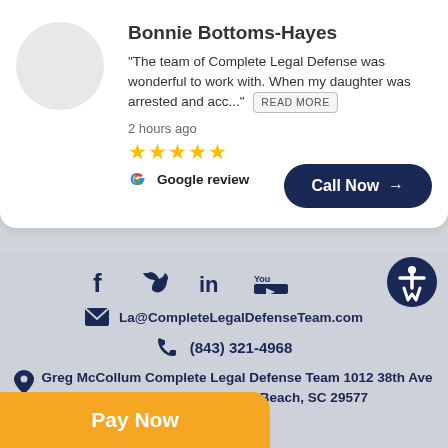Bonnie Bottoms-Hayes
"The team of Complete Legal Defense was wonderful to work with. When my daughter was arrested and acc..." READ MORE
2 hours ago
★★★★★ Google review
Call Now →
[Figure (infographic): Social media icons: Facebook, Twitter, LinkedIn, YouTube, and accessibility icon]
La@CompleteLegalDefenseTeam.com
(843) 321-4968
Greg McCollum Complete Legal Defense Team 1012 38th Ave North, Suite 202, Myrtle Beach, SC 29577
Pay Now